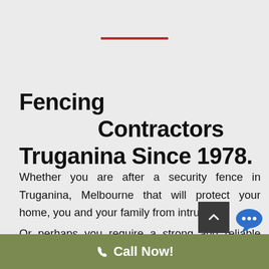[Figure (other): Red horizontal decorative line divider]
Fencing Contractors Truganina Since 1978.
Whether you are after a security fence in Truganina, Melbourne that will protect your home, you and your family from intruders?
Or perhaps you require a strong and reliable industrial security fence? Maybe you are
Call Now!